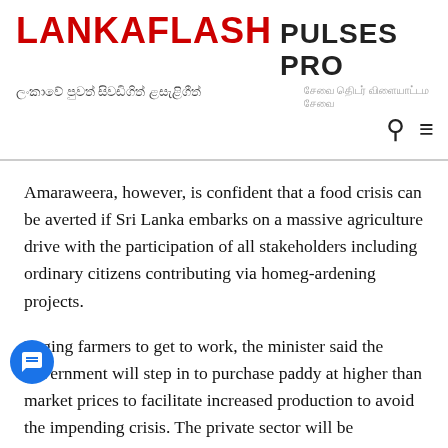LANKAFLASH PULSES PRO
ලංකාවේ පුවත් සිව‌ඩිගිත් ළසැළිගීත්
Amaraweera, however, is confident that a food crisis can be averted if Sri Lanka embarks on a massive agriculture drive with the participation of all stakeholders including ordinary citizens contributing via homeg-ardening projects.
Urging farmers to get to work, the minister said the government will step in to purchase paddy at higher than market prices to facilitate increased production to avoid the impending crisis. The private sector will be encouraged to import inorganic fertilizer, which is currently in high demand and short supply, and the government will consider